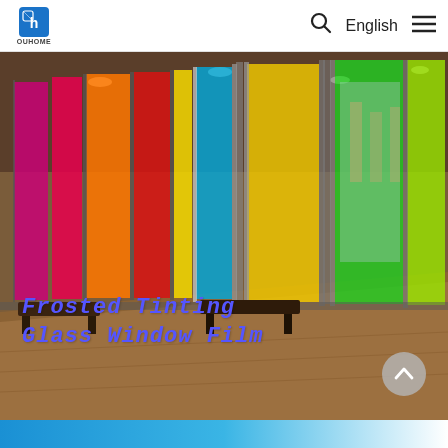OUHOME | English
[Figure (photo): Interior hallway with large floor-to-ceiling glass panels tinted in multiple colors: magenta, red/pink, orange, red, yellow, blue/cyan, yellow, green, and lime green. Wooden benches visible inside. Overlaid text reads 'Frosted Tinting Glass Window Film' in bold blue italic monospace font.]